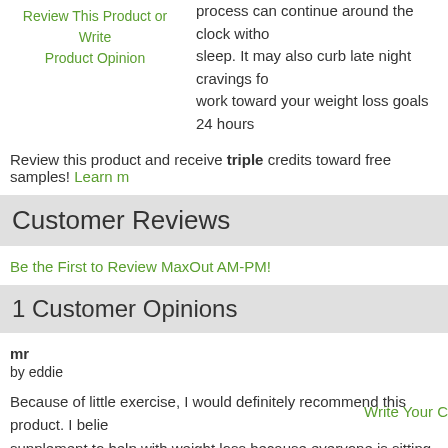process can continue around the clock without sleep. It may also curb late night cravings fo... work toward your weight loss goals 24 hours...
Review This Product or Write Product Opinion
Review this product and receive triple credits toward free samples! Learn m...
Customer Reviews
Be the First to Review MaxOut AM-PM!
1 Customer Opinions
mr
by eddie
Because of little exercise, I would definitely recommend this product. I belie... supplement to help with weight loss because everyone is sitting at a desk.
Write Your C...